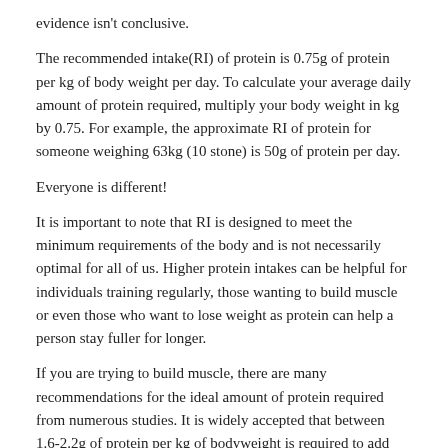evidence isn't conclusive.
The recommended intake(RI) of protein is 0.75g of protein per kg of body weight per day. To calculate your average daily amount of protein required, multiply your body weight in kg by 0.75. For example, the approximate RI of protein for someone weighing 63kg (10 stone) is 50g of protein per day.
Everyone is different!
It is important to note that RI is designed to meet the minimum requirements of the body and is not necessarily optimal for all of us. Higher protein intakes can be helpful for individuals training regularly, those wanting to build muscle or even those who want to lose weight as protein can help a person stay fuller for longer.
If you are trying to build muscle, there are many recommendations for the ideal amount of protein required from numerous studies. It is widely accepted that between 1.6-2.2g of protein per kg of bodyweight is required to add sufficient muscle mass. Try to start with 1.6g to assess your progress and slowly increase this if you need to.